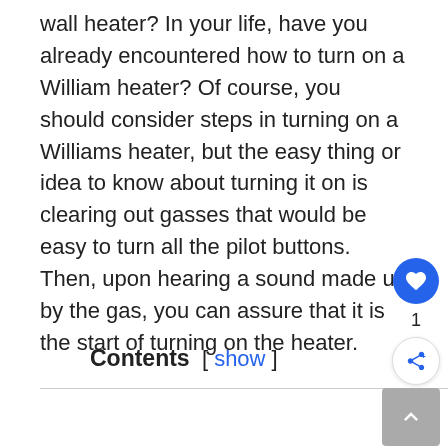wall heater? In your life, have you already encountered how to turn on a William heater? Of course, you should consider steps in turning on a Williams heater, but the easy thing or idea to know about turning it on is clearing out gasses that would be easy to turn all the pilot buttons. Then, upon hearing a sound made up by the gas, you can assure that it is the start of turning on the heater.
Contents [ show ]